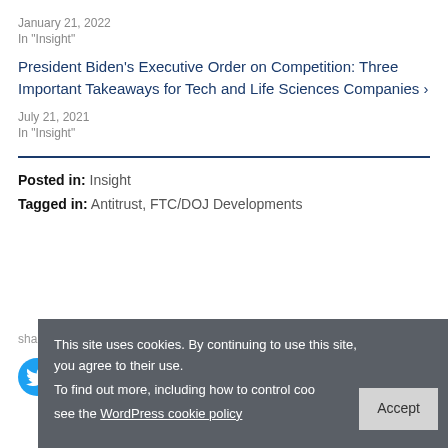January 21, 2022
In "Insight"
President Biden’s Executive Order on Competition: Three Important Takeaways for Tech and Life Sciences Companies ›
July 21, 2021
In "Insight"
Posted in: Insight
Tagged in: Antitrust, FTC/DOJ Developments
share this...
This site uses cookies. By continuing to use this site, you agree to their use. To find out more, including how to control cookies, see the WordPress cookie policy